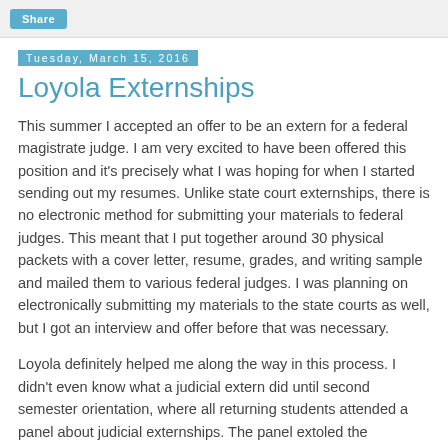Share
Tuesday, March 15, 2016
Loyola Externships
This summer I accepted an offer to be an extern for a federal magistrate judge. I am very excited to have been offered this position and it's precisely what I was hoping for when I started sending out my resumes. Unlike state court externships, there is no electronic method for submitting your materials to federal judges. This meant that I put together around 30 physical packets with a cover letter, resume, grades, and writing sample and mailed them to various federal judges. I was planning on electronically submitting my materials to the state courts as well, but I got an interview and offer before that was necessary.
Loyola definitely helped me along the way in this process. I didn't even know what a judicial extern did until second semester orientation, where all returning students attended a panel about judicial externships. The panel extoled the